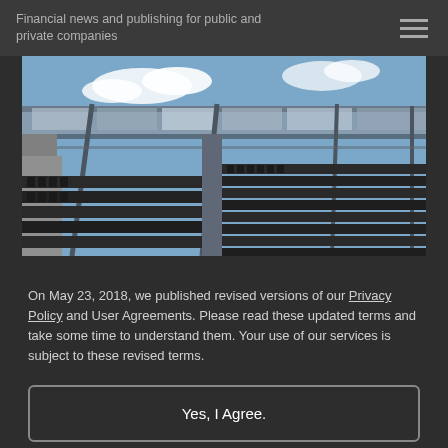Financial news and publishing for public and private companies
[Figure (photo): Interior of a stadium showing rows of empty seats, structural steel canopy/roof framing, and blue sky visible in the background.]
On May 23, 2018, we published revised versions of our Privacy Policy and User Agreements. Please read these updated terms and take some time to understand them. Your use of our services is subject to these revised terms.
Yes, I Agree.